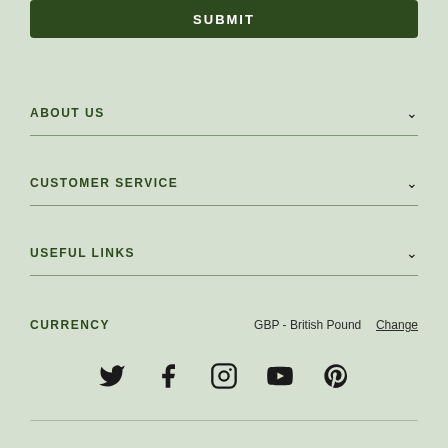SUBMIT
ABOUT US
CUSTOMER SERVICE
USEFUL LINKS
CURRENCY  GBP - British Pound  Change
[Figure (infographic): Social media icons: Twitter, Facebook, Instagram, YouTube, Pinterest]